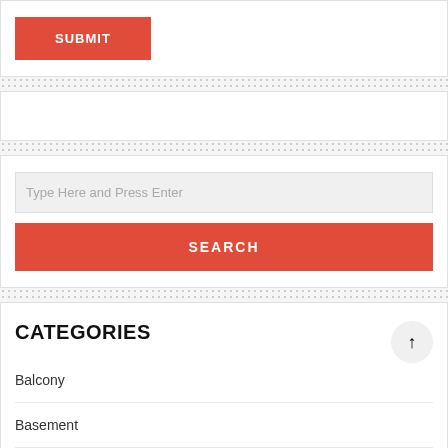[Figure (screenshot): A SUBMIT button with red/coral background and white uppercase text]
[Figure (screenshot): A search widget with a text input field labeled 'Type Here and Press Enter' and a red SEARCH button below]
CATEGORIES
Balcony
Basement